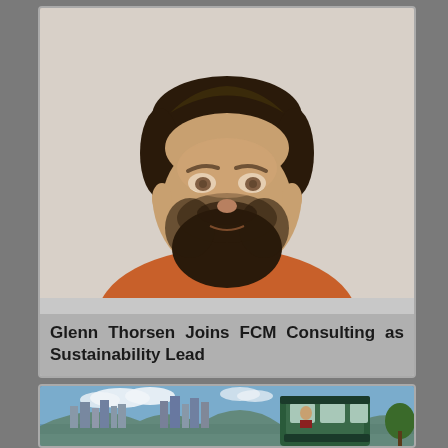[Figure (photo): Portrait photo of a young man with a beard wearing an orange sweater, photographed against a light background.]
Glenn Thorsen Joins FCM Consulting as Sustainability Lead
[Figure (photo): Photo of a city skyline with tall buildings and a green tram/cable car in the foreground under a blue sky with clouds.]